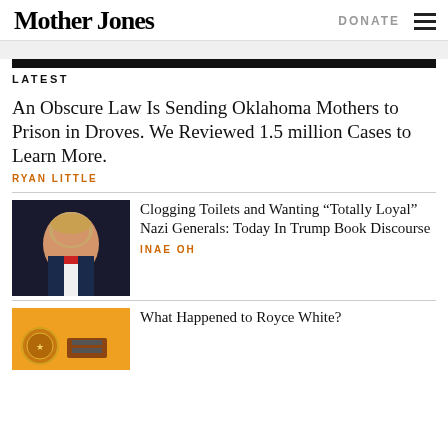Mother Jones | DONATE
LATEST
An Obscure Law Is Sending Oklahoma Mothers to Prison in Droves. We Reviewed 1.5 million Cases to Learn More.
RYAN LITTLE
[Figure (photo): Portrait photo of Donald Trump against dark background]
Clogging Toilets and Wanting “Totally Loyal” Nazi Generals: Today In Trump Book Discourse
INAE OH
[Figure (photo): Orange background with seal/badge image]
What Happened to Royce White?